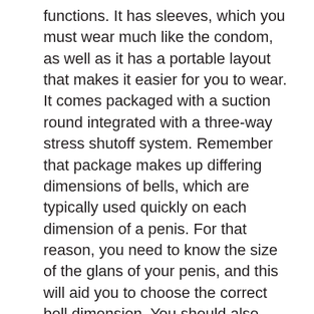functions. It has sleeves, which you must wear much like the condom, as well as it has a portable layout that makes it easier for you to wear. It comes packaged with a suction round integrated with a three-way stress shutoff system. Remember that package makes up differing dimensions of bells, which are typically used quickly on each dimension of a penis. For that reason, you need to know the size of the glans of your penis, and this will aid you to choose the correct bell dimension. You should also comprehend that this product has a tension clip, enabling you to utilize a straightforward pull to increase stress. As well as it features a guard cap to secure the glans versus excess pressure.